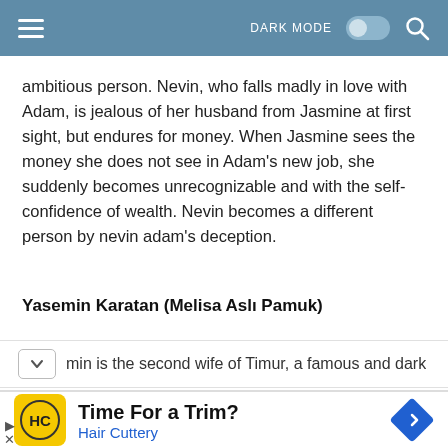DARK MODE [toggle] [search]
ambitious person. Nevin, who falls madly in love with Adam, is jealous of her husband from Jasmine at first sight, but endures for money. When Jasmine sees the money she does not see in Adam's new job, she suddenly becomes unrecognizable and with the self-confidence of wealth. Nevin becomes a different person by nevin adam's deception.
Yasemin Karatan (Melisa Aslı Pamuk)
min is the second wife of Timur, a famous and dark
[Figure (screenshot): Advertisement banner for Hair Cuttery: yellow logo with HC initials, text 'Time For a Trim?' and 'Hair Cuttery', blue navigation arrow icon on the right.]